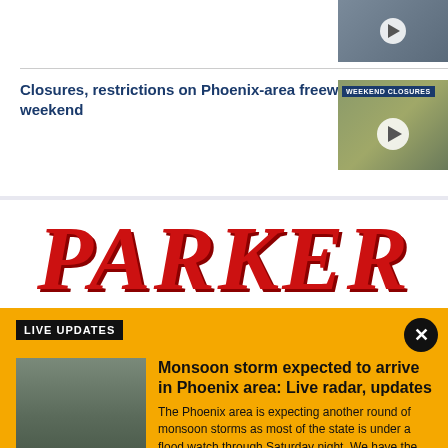[Figure (screenshot): Video thumbnail at top right with play button]
Closures, restrictions on Phoenix-area freeways this weekend
[Figure (screenshot): Aerial image thumbnail with WEEKEND CLOSURES label and play button]
[Figure (logo): PARKER logo in large red serif italic font]
LIVE UPDATES
[Figure (photo): Photo of cars driving on a rainy road]
Monsoon storm expected to arrive in Phoenix area: Live radar, updates
The Phoenix area is expecting another round of monsoon storms as most of the state is under a flood watch through Saturday night. We have the latest on this round of wet weather.